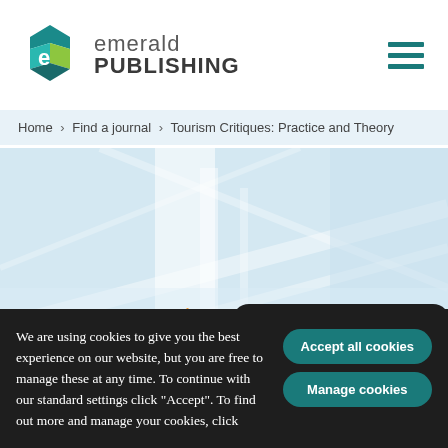[Figure (logo): Emerald Publishing logo with geometric hexagonal icon in green, blue, and yellow colors, with text 'emerald PUBLISHING']
[Figure (other): Hamburger menu icon with three teal horizontal lines]
Home › Find a journal › Tourism Critiques: Practice and Theory
[Figure (photo): Hero image showing architectural lines and structures in light blue/white tones, with an open access orange hexagonal lock icon overlay]
UPDATE PRIVACY SETTINGS
We are using cookies to give you the best experience on our website, but you are free to manage these at any time. To continue with our standard settings click "Accept". To find out more and manage your cookies, click
Accept all cookies
Manage cookies